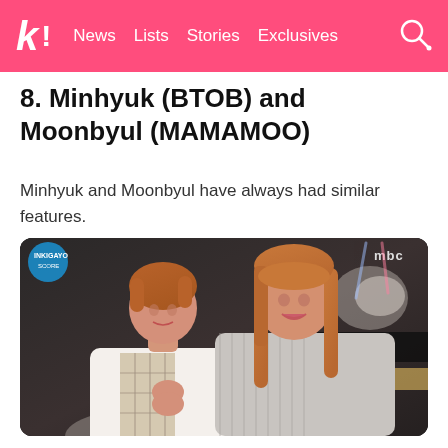K! News Lists Stories Exclusives
8. Minhyuk (BTOB) and Moonbyul (MAMAMOO)
Minhyuk and Moonbyul have always had similar features.
[Figure (photo): Photo of Minhyuk (BTOB) and Moonbyul (MAMAMOO) together at what appears to be an MBC music show, both with orange/brown hair, smiling and posing together]